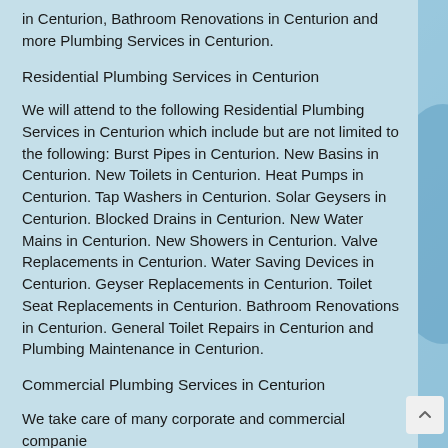in Centurion, Bathroom Renovations in Centurion and more Plumbing Services in Centurion.
Residential Plumbing Services in Centurion
We will attend to the following Residential Plumbing Services in Centurion which include but are not limited to the following: Burst Pipes in Centurion. New Basins in Centurion. New Toilets in Centurion. Heat Pumps in Centurion. Tap Washers in Centurion. Solar Geysers in Centurion. Blocked Drains in Centurion. New Water Mains in Centurion. New Showers in Centurion. Valve Replacements in Centurion. Water Saving Devices in Centurion. Geyser Replacements in Centurion. Toilet Seat Replacements in Centurion. Bathroom Renovations in Centurion. General Toilet Repairs in Centurion and Plumbing Maintenance in Centurion.
Commercial Plumbing Services in Centurion
We take care of many corporate and commercial companie